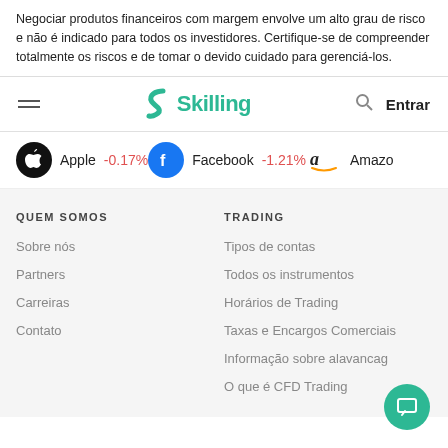Negociar produtos financeiros com margem envolve um alto grau de risco e não é indicado para todos os investidores. Certifique-se de compreender totalmente os riscos e de tomar o devido cuidado para gerenciá-los.
[Figure (logo): Skilling logo with teal S icon and 'Skilling' text, hamburger menu icon on left, search icon and 'Entrar' on right]
Apple -0.17%   Facebook -1.21%   Amazo
QUEM SOMOS
Sobre nós
Partners
Carreiras
Contato
TRADING
Tipos de contas
Todos os instrumentos
Horários de Trading
Taxas e Encargos Comerciais
Informação sobre alavancag
O que é CFD Trading